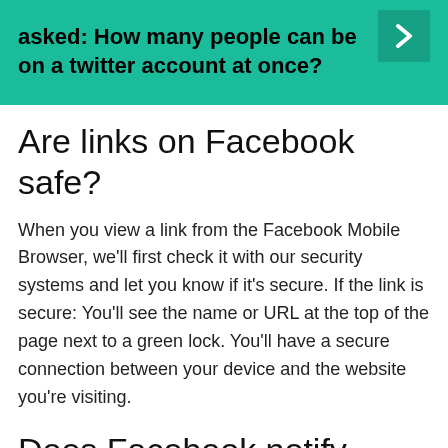[Figure (infographic): Teal/green banner with bold black text reading 'asked: How many people can be on a twitter account at once?' and a dark teal arrow chevron on the right side]
Are links on Facebook safe?
When you view a link from the Facebook Mobile Browser, we’ll first check it with our security systems and let you know if it’s secure. If the link is secure: You’ll see the name or URL at the top of the page next to a green lock. You’ll have a secure connection between your device and the website you’re visiting.
Does Facebook notify when you screenshot a picture 2021?